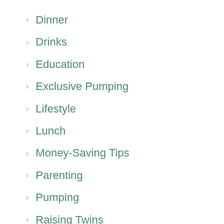Dinner
Drinks
Education
Exclusive Pumping
Lifestyle
Lunch
Money-Saving Tips
Parenting
Pumping
Raising Twins
Recipes